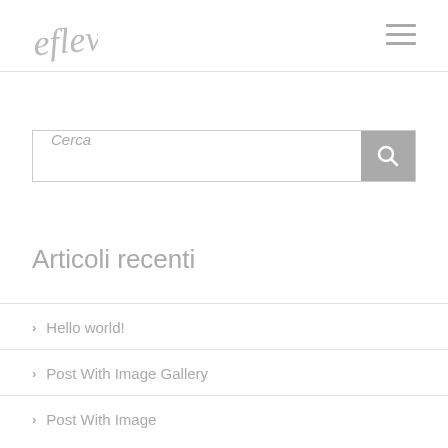[Figure (logo): Cursive/script style logo in light gray]
[Figure (other): Hamburger menu icon with three horizontal lines]
Cerca
Articoli recenti
> Hello world!
> Post With Image Gallery
> Post With Image